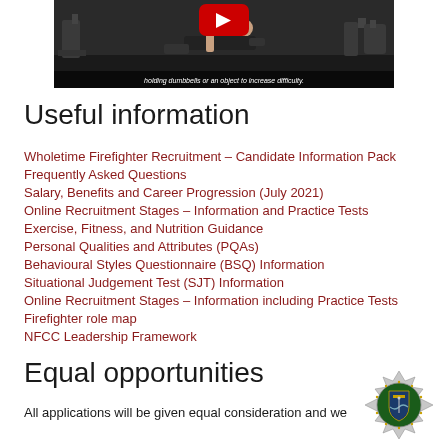[Figure (screenshot): Video screenshot of a gym scene with a person exercising. A red YouTube play button is visible at the top center. A subtitle bar reads: 'holding dumbbells or an object to increase difficulty.']
Useful information
Wholetime Firefighter Recruitment – Candidate Information Pack
Frequently Asked Questions
Salary, Benefits and Career Progression (July 2021)
Online Recruitment Stages – Information and Practice Tests
Exercise, Fitness, and Nutrition Guidance
Personal Qualities and Attributes (PQAs)
Behavioural Styles Questionnaire (BSQ) Information
Situational Judgement Test (SJT) Information
Online Recruitment Stages – Information including Practice Tests
Firefighter role map
NFCC Leadership Framework
Equal opportunities
All applications will be given equal consideration and we
[Figure (logo): Fire and rescue service badge/crest - an eight-pointed star shape with a shield emblem in the center]